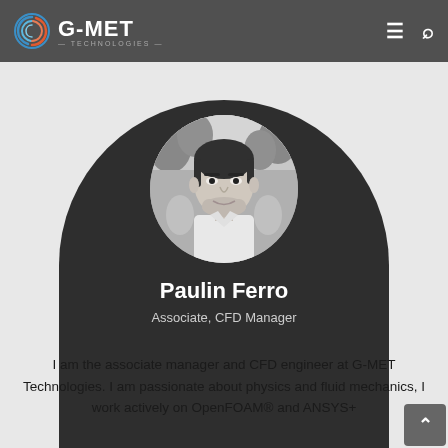G-MET Technologies
[Figure (photo): Black and white circular profile photo of Paulin Ferro, a young man with dark hair and beard, wearing a white shirt, outdoors with trees in background]
Paulin Ferro
Associate, CFD Manager
I am the associate manager and CFD engineer at G-MET Technologies. I am passionate about physics and fluid mechanics, I work actively on OpenFOAM® and ANSYS+